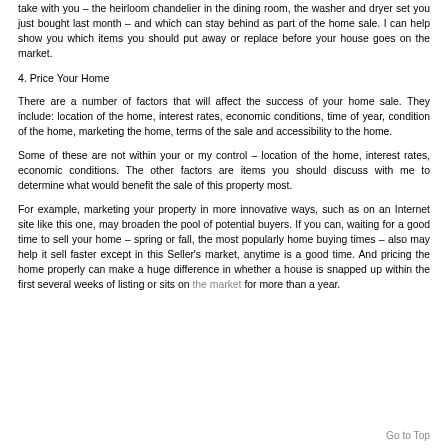take with you – the heirloom chandelier in the dining room, the washer and dryer set you just bought last month – and which can stay behind as part of the home sale. I can help show you which items you should put away or replace before your house goes on the market.
4. Price Your Home
There are a number of factors that will affect the success of your home sale. They include: location of the home, interest rates, economic conditions, time of year, condition of the home, marketing the home, terms of the sale and accessibility to the home.
Some of these are not within your or my control – location of the home, interest rates, economic conditions. The other factors are items you should discuss with me to determine what would benefit the sale of this property most.
For example, marketing your property in more innovative ways, such as on an Internet site like this one, may broaden the pool of potential buyers. If you can, waiting for a good time to sell your home – spring or fall, the most popularly home buying times – also may help it sell faster except in this Seller's market, anytime is a good time. And pricing the home properly can make a huge difference in whether a house is snapped up within the first several weeks of listing or sits on the market for more than a year.
Go to Top